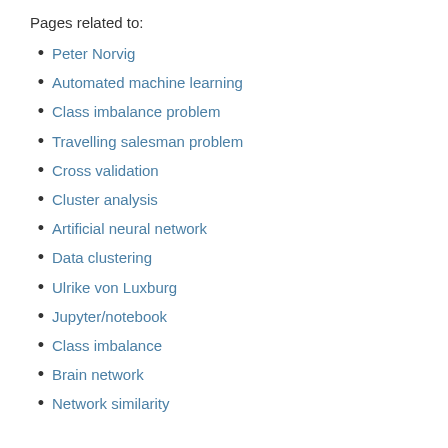Pages related to:
Peter Norvig
Automated machine learning
Class imbalance problem
Travelling salesman problem
Cross validation
Cluster analysis
Artificial neural network
Data clustering
Ulrike von Luxburg
Jupyter/notebook
Class imbalance
Brain network
Network similarity
but not related to:
Probability, Paradox, and the Reasonable Person Principle
scikit-learn